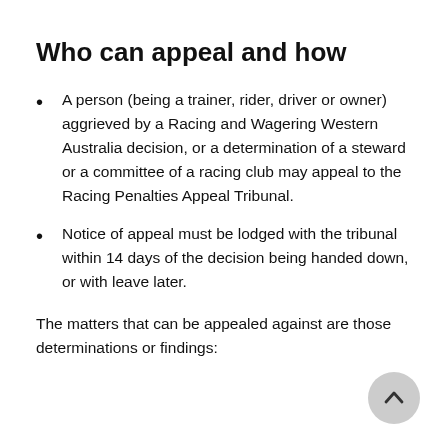Who can appeal and how
A person (being a trainer, rider, driver or owner) aggrieved by a Racing and Wagering Western Australia decision, or a determination of a steward or a committee of a racing club may appeal to the Racing Penalties Appeal Tribunal.
Notice of appeal must be lodged with the tribunal within 14 days of the decision being handed down, or with leave later.
The matters that can be appealed against are those determinations or findings: